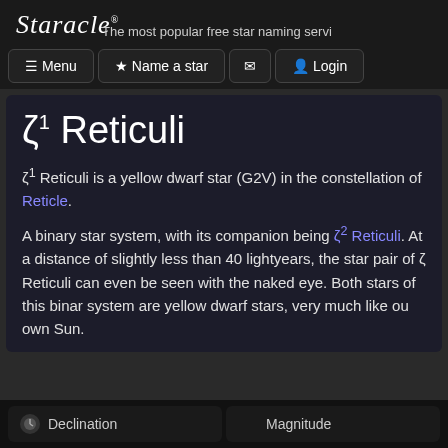Staracle® — The most popular free star naming servi…
≡ Menu  ★ Name a star  ✉  👤 Login
ζ¹ Reticuli
ζ¹ Reticuli is a yellow dwarf star (G2V) in the constellation of Reticle.
A binary star system, with its companion being ζ² Reticuli. At a distance of slightly less than 40 lightyears, the star pair of ζ Reticuli can even be seen with the naked eye. Both stars of this binary system are yellow dwarf stars, very much like our own Sun.
Declination   Magnitude